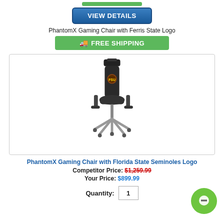[Figure (other): Green button at top (partially visible)]
[Figure (other): Blue VIEW DETAILS button]
PhantomX Gaming Chair with Ferris State Logo
[Figure (other): Green FREE SHIPPING banner with truck icon]
[Figure (photo): PhantomX Gaming Chair with Florida State Seminoles Logo — black ergonomic gaming chair with headrest and team logo on backrest]
PhantomX Gaming Chair with Florida State Seminoles Logo
Competitor Price: $1,259.99
Your Price: $899.99
Quantity: 1